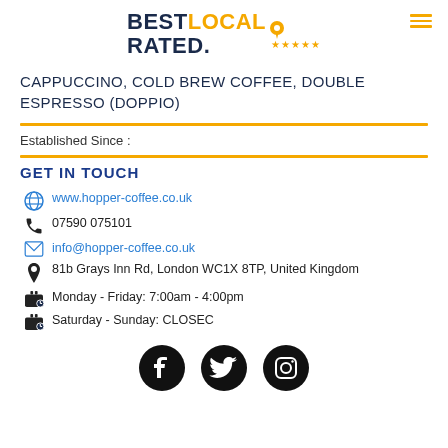BEST LOCAL RATED. ★★★★★
CAPPUCCINO, COLD BREW COFFEE, DOUBLE ESPRESSO (DOPPIO)
Established Since :
GET IN TOUCH
www.hopper-coffee.co.uk
07590 075101
info@hopper-coffee.co.uk
81b Grays Inn Rd, London WC1X 8TP, United Kingdom
Monday - Friday: 7:00am - 4:00pm
Saturday - Sunday: CLOSEC
[Figure (logo): Facebook, Twitter, Instagram social media icons in black circles]